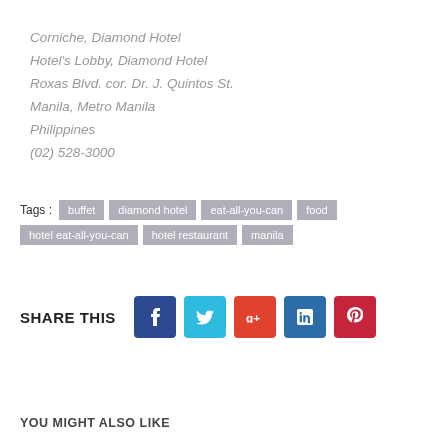Corniche, Diamond Hotel
Hotel's Lobby, Diamond Hotel
Roxas Blvd. cor. Dr. J. Quintos St.
Manila, Metro Manila
Philippines
(02) 528-3000
Tags : buffet  diamond hotel  eat-all-you-can  food  hotel eat-all-you-can  hotel restaurant  manila
SHARE THIS
YOU MIGHT ALSO LIKE